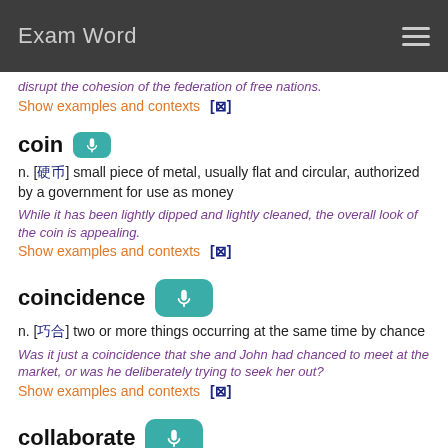Exam Word
disrupt the cohesion of the federation of free nations.
Show examples and contexts [⊠]
coin
n. [硬币] small piece of metal, usually flat and circular, authorized by a government for use as money
While it has been lightly dipped and lightly cleaned, the overall look of the coin is appealing.
Show examples and contexts [⊠]
coincidence
n. [巧合] two or more things occurring at the same time by chance
Was it just a coincidence that she and John had chanced to meet at the market, or was he deliberately trying to seek her out?
Show examples and contexts [⊠]
collaborate
v. [合作] work together, especially in a joint intellectual effort
The easy way to collaborate is to pay attention to the small things in life.